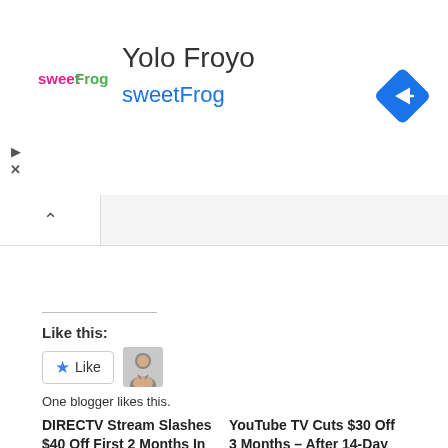[Figure (logo): sweetFrog logo - pink and green text logo]
Yolo Froyo
sweetFrog
[Figure (other): Blue diamond navigation arrow icon pointing right]
[Figure (other): Tab bar with chevron up arrow]
Like this:
[Figure (other): Like button with star icon and blogger avatar]
One blogger likes this.
DIRECTV Stream Slashes $40 Off First 2 Months In
YouTube TV Cuts $30 Off 3 Months – After 14-Day Free